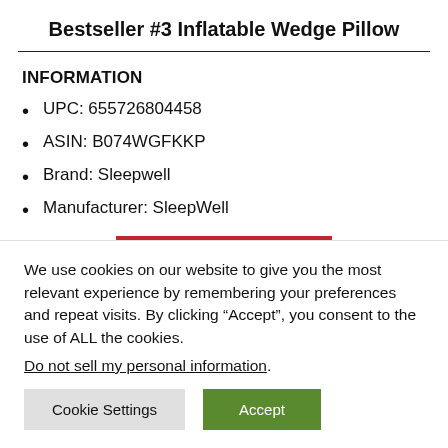Bestseller #3 Inflatable Wedge Pillow
INFORMATION
UPC: 655726804458
ASIN: B074WGFKKP
Brand: Sleepwell
Manufacturer: SleepWell
[Figure (other): Red BUY ON AMAZON button]
We use cookies on our website to give you the most relevant experience by remembering your preferences and repeat visits. By clicking “Accept”, you consent to the use of ALL the cookies.
Do not sell my personal information.
Cookie Settings  Accept